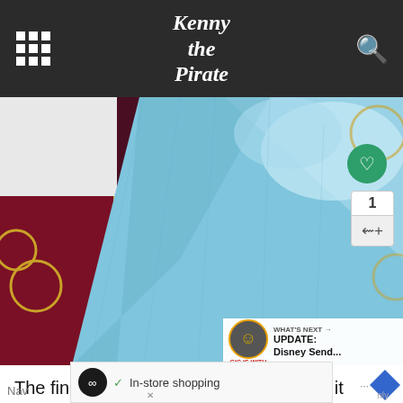Kenny the Pirate
[Figure (photo): Close-up photo of Cinderella's blue ballgown dress touching a prince's red military-style costume with gold trim, from a Disney parade float. A green heart button and share count of 1 are visible on the right side. A 'What's Next' overlay shows an update about Disney in the bottom right corner.]
The final section of the float rotates and it contains
In-store shopping